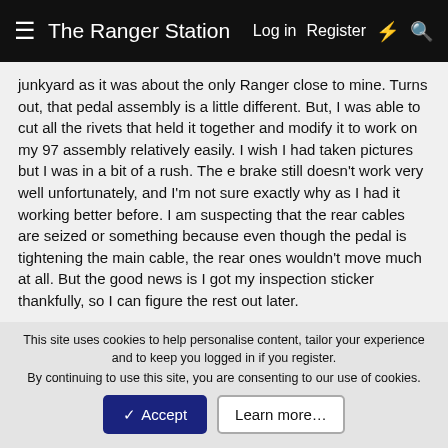The Ranger Station  Log in  Register
junkyard as it was about the only Ranger close to mine. Turns out, that pedal assembly is a little different. But, I was able to cut all the rivets that held it together and modify it to work on my 97 assembly relatively easily. I wish I had taken pictures but I was in a bit of a rush. The e brake still doesn't work very well unfortunately, and I'm not sure exactly why as I had it working better before. I am suspecting that the rear cables are seized or something because even though the pedal is tightening the main cable, the rear ones wouldn't move much at all. But the good news is I got my inspection sticker thankfully, so I can figure the rest out later.
One other thing I did find though while trying to sort out an on road vibration before this trip was that I had a bent axle shaft. The whole wheel/tire and brake assembly would
This site uses cookies to help personalise content, tailor your experience and to keep you logged in if you register.
By continuing to use this site, you are consenting to our use of cookies.